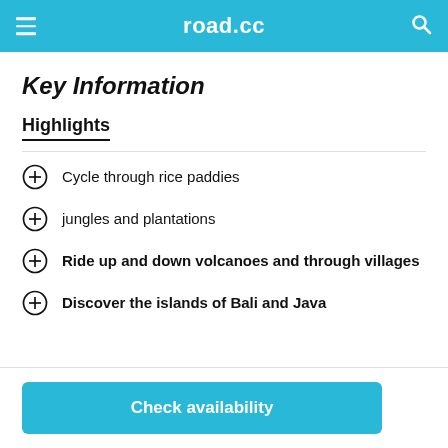road.cc
Key Information
Highlights
Cycle through rice paddies
jungles and plantations
Ride up and down volcanoes and through villages
Discover the islands of Bali and Java
Check availability